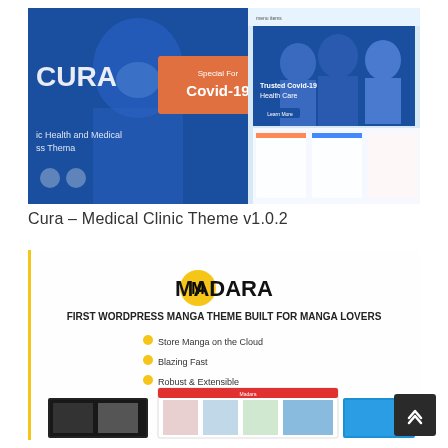[Figure (screenshot): Screenshot of Cura Medical Clinic Theme showing a blue medical website with Covid-19 banner and healthcare professionals]
Cura – Medical Clinic Theme v1.0.2
[Figure (screenshot): Screenshot of Madara First WordPress Manga Theme Built for Manga Lovers, showing logo, bullet points: Store Manga on the Cloud, Blazing Fast, Robust & Extensible, and manga reading interface]